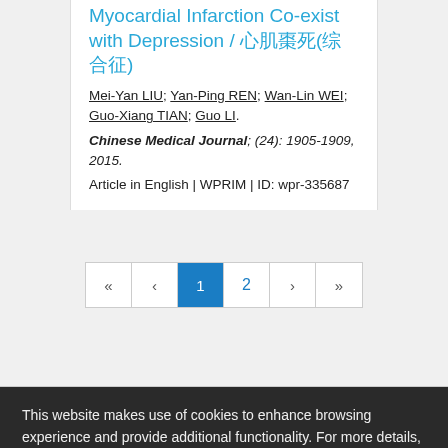Myocardial Infarction Co-exist with Depression / 心肌梗死(综合征)
Mei-Yan LIU; Yan-Ping REN; Wan-Lin WEI; Guo-Xiang TIAN; Guo LI.
Chinese Medical Journal; (24): 1905-1909, 2015.
Article in English | WPRIM | ID: wpr-335687
[Figure (other): Pagination controls showing pages 1 and 2, with first, previous, next, last navigation buttons. Page 1 is currently selected (highlighted in blue).]
This website makes use of cookies to enhance browsing experience and provide additional functionality. For more details, see ours: Terms and conditions for the use and Privacy policy